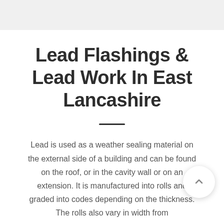Lead Flashings & Lead Work In East Lancashire
Lead is used as a weather sealing material on the external side of a building and can be found on the roof, or in the cavity wall or on an extension. It is manufactured into rolls and graded into codes depending on the thickness. The rolls also vary in width from